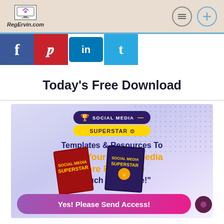RegErvin.com
[Figure (screenshot): Social media share icons: Facebook (f), Pinterest (p), LinkedIn (in), Twitter (t)]
Today's Free Download
[Figure (illustration): Social Media Superstar promotional image with text: Templates & Resources To Make Your Social Media More Profitable In Much Less Time! with book covers and a CTA button: Yes! Please Send Access!]